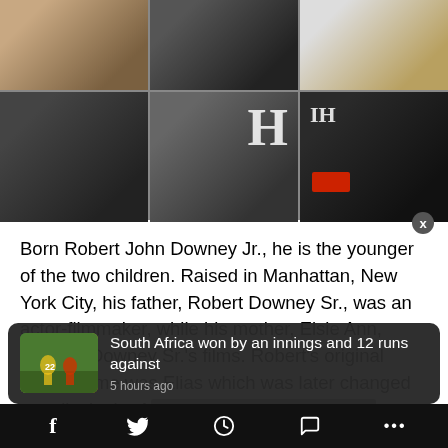[Figure (photo): 6-panel photo grid showing Robert Downey Jr. in various appearances across different events and ages. Top row: young woman with man in tux, man in suit with tie at formal event, man in white jacket. Bottom row: RDJ in black suit/tie, RDJ laughing at premiere with H logo visible, RDJ in glasses at IHG event.]
Born Robert John Downey Jr., he is the younger of the two children. Raised in Manhattan, New York City, his father, Robert Downey Sr., was an actor-filmmaker, while his mother, Elsie Ann, acted in Downey Sr.'s films. Robert's original family name was Elias which was later changed to enlist in the A[rmy. His father was also with] his older sister [...]
[Figure (photo): Notification card overlay at bottom: thumbnail image of cricket match (South Africa vs England) with text 'South Africa won by an innings and 12 runs against' and timestamp '5 hours ago']
f  [Twitter bird]  [share icon]  [comment icon]  ...